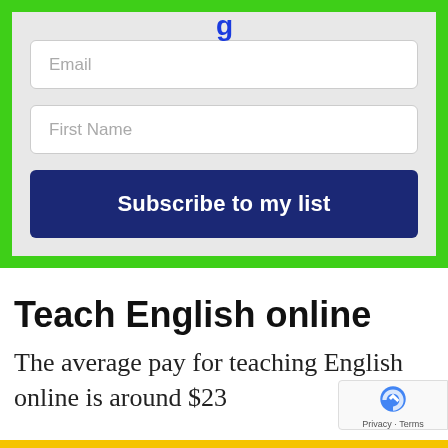[Figure (screenshot): Email subscription form with green border, email input field, first name input field, and a dark blue 'Subscribe to my list' button on gray background]
Teach English online
The average pay for teaching English online is around $23